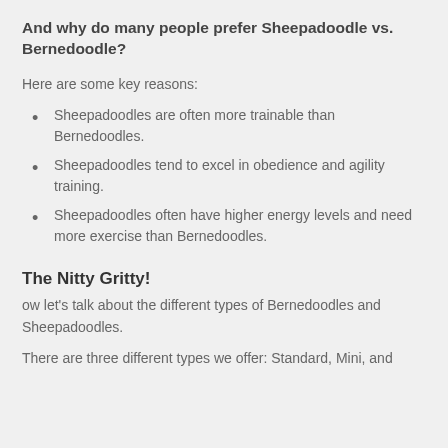And why do many people prefer Sheepadoodle vs. Bernedoodle?
Here are some key reasons:
Sheepadoodles are often more trainable than Bernedoodles.
Sheepadoodles tend to excel in obedience and agility training.
Sheepadoodles often have higher energy levels and need more exercise than Bernedoodles.
The Nitty Gritty!
ow let's talk about the different types of Bernedoodles and Sheepadoodles.
There are three different types we offer: Standard, Mini, and